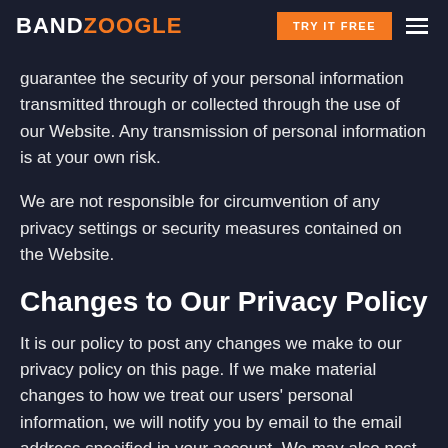BANDZOOGLE | TRY IT FREE
guarantee the security of your personal information transmitted through or collected through the use of our Website. Any transmission of personal information is at your own risk.
We are not responsible for circumvention of any privacy settings or security measures contained on the Website.
Changes to Our Privacy Policy
It is our policy to post any changes we make to our privacy policy on this page. If we make material changes to how we treat our users' personal information, we will notify you by email to the email address specified in your account. We may also post